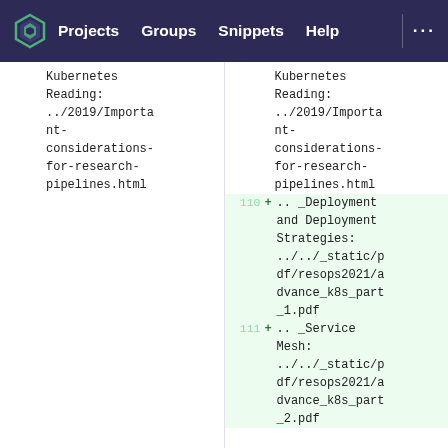Projects  Groups  Snippets  Help  ...
Kubernetes
Reading:
../2019/Important-considerations-for-research-pipelines.html
Kubernetes
Reading:
../2019/Important-considerations-for-research-pipelines.html
110  + .. _Deployment and Deployment Strategies: ../../_static/pdf/resops2021/advance_k8s_part_1.pdf
111  + .. _Service Mesh: ../../_static/pdf/resops2021/advance_k8s_part_2.pdf